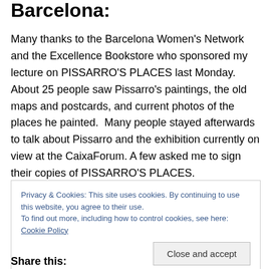Barcelona:
Many thanks to the Barcelona Women's Network and the Excellence Bookstore who sponsored my lecture on PISSARRO'S PLACES last Monday.  About 25 people saw Pissarro's paintings, the old maps and postcards, and current photos of the places he painted.  Many people stayed afterwards to talk about Pissarro and the exhibition currently on view at the CaixaForum. A few asked me to sign their copies of PISSARRO'S PLACES.
Privacy & Cookies: This site uses cookies. By continuing to use this website, you agree to their use.
To find out more, including how to control cookies, see here: Cookie Policy
Share this: